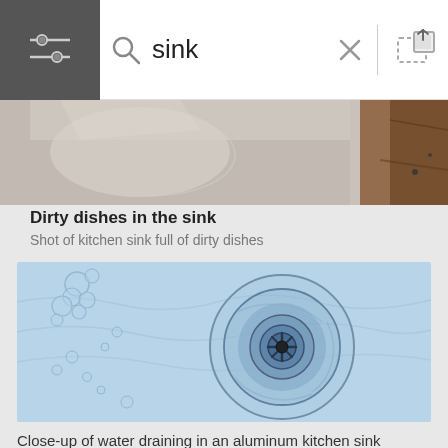[Figure (screenshot): Search bar interface with filter icon, magnifying glass search icon, search text 'sink', close X button, and upload image icon]
[Figure (photo): Top portion of a photo showing dirty dishes in a kitchen sink, with brown wooden counter visible]
Dirty dishes in the sink
Shot of kitchen sink full of dirty dishes
[Figure (photo): Close-up overhead view of water draining in an aluminum kitchen sink with soap bubbles visible on the upper left]
Close-up of water draining in an aluminum kitchen sink